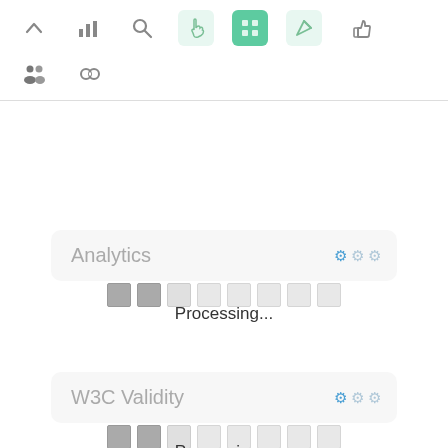[Figure (screenshot): Toolbar row with icons: up-arrow, bar-chart, search, hand pointer (light green bg), grid/app icon (solid green bg), send/rocket arrow (light green bg), thumbs-up]
[Figure (screenshot): Second toolbar row with two icons: people/group icon and chain-link/infinity icon]
Analytics
[Figure (infographic): Row of 8 small squares showing a loading/progress indicator: first two squares darker gray, remaining six lighter gray]
Processing...
W3C Validity
[Figure (infographic): Row of 8 small squares showing a loading/progress indicator: first two squares darker gray, remaining six lighter gray]
Processing...